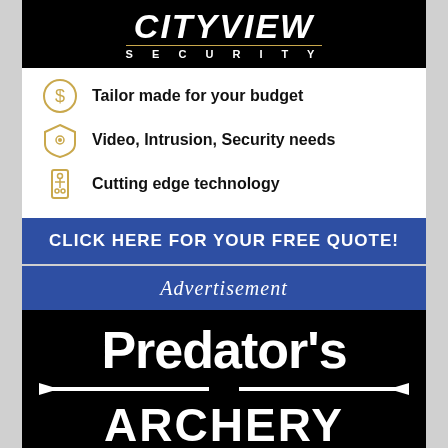CityView SECURITY
Tailor made for your budget
Video, Intrusion, Security needs
Cutting edge technology
CLICK HERE FOR YOUR FREE QUOTE!
Advertisement
Predator's Archery
50 Monterey St Gilroy, CA 950
Phone: (408) 842-7733